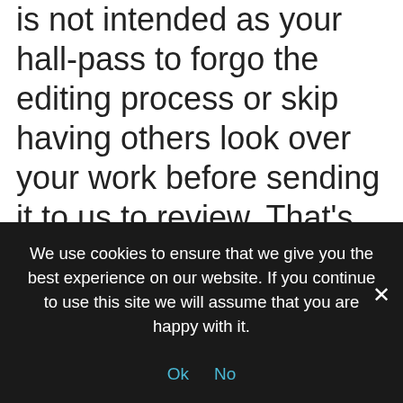is not intended as your hall-pass to forgo the editing process or skip having others look over your work before sending it to us to review. That's still an important part of the process. If you are on your own, try changing the font and printing out your essay (sometimes it's easier to catch things in print) and reading it aloud, or copying and pasting it into a text to speech site to hear it read to you. Though not perfect, that should help you catch most mistakes. After sending, if you notice mistakes that would prevent us
We use cookies to ensure that we give you the best experience on our website. If you continue to use this site we will assume that you are happy with it.